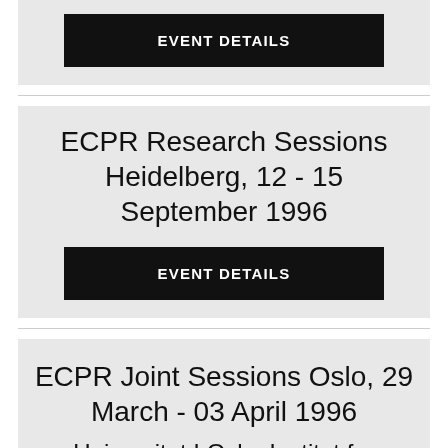EVENT DETAILS
ECPR Research Sessions Heidelberg, 12 - 15 September 1996
EVENT DETAILS
ECPR Joint Sessions Oslo, 29 March - 03 April 1996
Universitet I Oslo, Institut for